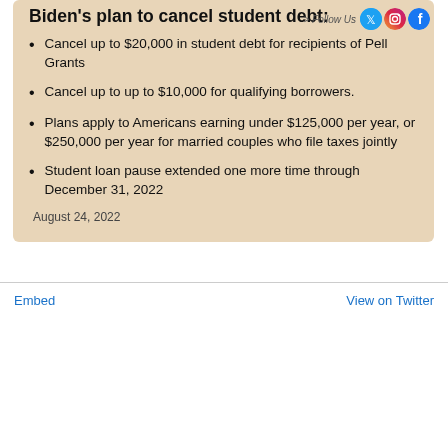Biden's plan to cancel student debt:
Cancel up to $20,000 in student debt for recipients of Pell Grants
Cancel up to up to $10,000 for qualifying borrowers.
Plans apply to Americans earning under $125,000 per year, or $250,000 per year for married couples who file taxes jointly
Student loan pause extended one more time through December 31, 2022
August 24, 2022
Embed   View on Twitter